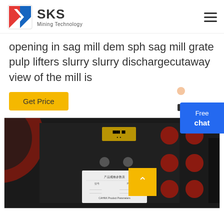SKS Mining Technology
opening in sag mill dem sph sag mill grate pulp lifters slurry slurry dischargecutaway view of the mill is
Get Price
[Figure (photo): Industrial mining machinery photo showing a large mill with red circular components, control panel with label plate visible, international flags in background, and a yellow scroll-to-top button overlay]